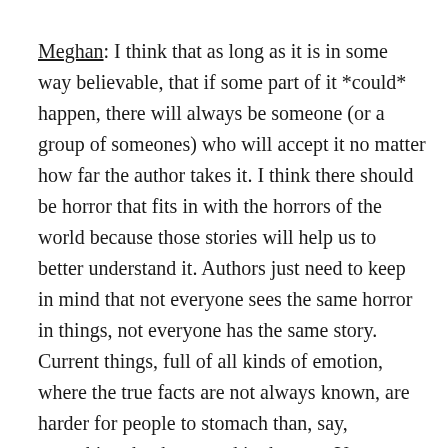Meghan: I think that as long as it is in some way believable, that if some part of it *could* happen, there will always be someone (or a group of someones) who will accept it no matter how far the author takes it. I think there should be horror that fits in with the horrors of the world because those stories will help us to better understand it. Authors just need to keep in mind that not everyone sees the same horror in things, not everyone has the same story. Current things, full of all kinds of emotion, where the true facts are not always known, are harder for people to stomach than, say, something that happened in the past. Your “horror” may not be my “horror.” We saw that when we look back at WWII. People who went through the events, who were in countries where the events took place, understood the atrocities on a completely different level than those who did not. The event itself was hard on everyone, and a lot of